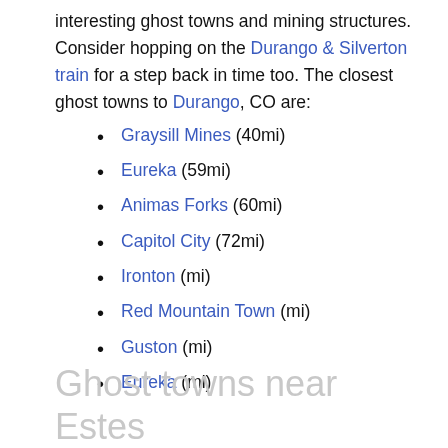interesting ghost towns and mining structures. Consider hopping on the Durango & Silverton train for a step back in time too. The closest ghost towns to Durango, CO are:
Graysill Mines (40mi)
Eureka (59mi)
Animas Forks (60mi)
Capitol City (72mi)
Ironton (mi)
Red Mountain Town (mi)
Guston (mi)
Eureka (mi)
Ghost towns near Estes